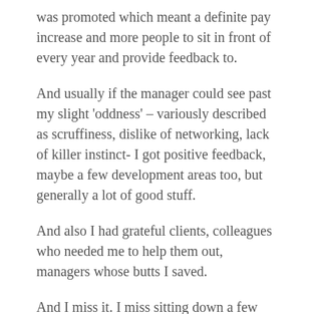was promoted which meant a definite pay increase and more people to sit in front of every year and provide feedback to.
And usually if the manager could see past my slight 'oddness' – variously described as scruffiness, dislike of networking, lack of killer instinct- I got positive feedback, maybe a few development areas too, but generally a lot of good stuff.
And also I had grateful clients, colleagues who needed me to help them out, managers whose butts I saved.
And I miss it. I miss sitting down a few times a year and being told I was good at something. By someone other than my mother. I miss the cards from clients.  I miss the gratefulness of colleagues.
No one else can do it better — [text continues]